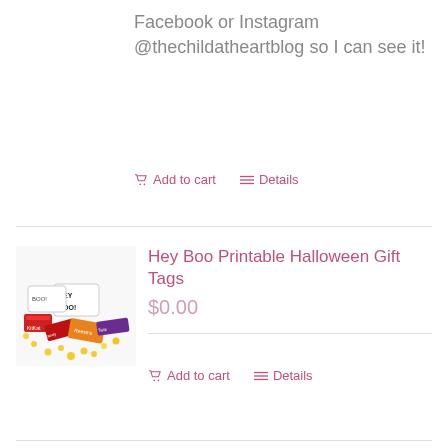Facebook or Instagram @thechildatheartblog so I can see it!
Add to cart   Details
[Figure (photo): Halloween gift tags product photo showing candy bags and 'Hey Boo' tags scattered on white background]
Hey Boo Printable Halloween Gift Tags
$0.00
Add to cart   Details